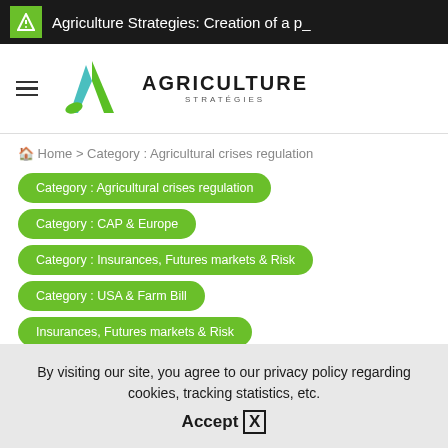Agriculture Strategies: Creation of a p_
[Figure (logo): Agriculture Stratégies logo with stylized A in teal and green, with text AGRICULTURE STRATÉGIES]
Home > Category : Agricultural crises regulation
Category : Agricultural crises regulation
Category : CAP & Europe
Category : Insurances, Futures markets & Risk
Category : USA & Farm Bill
Insurances, Futures markets & Risk
Futures markets and
By visiting our site, you agree to our privacy policy regarding cookies, tracking statistics, etc.
Accept X